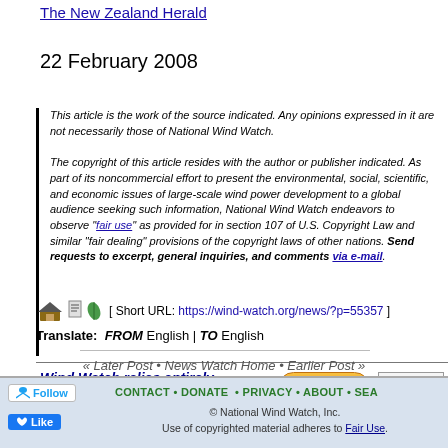The New Zealand Herald
22 February 2008
This article is the work of the source indicated. Any opinions expressed in it are not necessarily those of National Wind Watch.

The copyright of this article resides with the author or publisher indicated. As part of its noncommercial effort to present the environmental, social, scientific, and economic issues of large-scale wind power development to a global audience seeking such information, National Wind Watch endeavors to observe "fair use" as provided for in section 107 of U.S. Copyright Law and similar "fair dealing" provisions of the copyright laws of other nations. Send requests to excerpt, general inquiries, and comments via e-mail.
[Figure (infographic): Wind Watch donation banner with Donate $5 button and Visa/Mastercard logos. Text: Wind Watch relies entirely on User Funding]
[ Short URL: https://wind-watch.org/news/?p=55357 ]
Translate: FROM English | TO English
« Later Post • News Watch Home • Earlier Post »
Follow | Like | CONTACT • DONATE • PRIVACY • ABOUT • SEA... | © National Wind Watch, Inc. | Use of copyrighted material adheres to Fair Use.